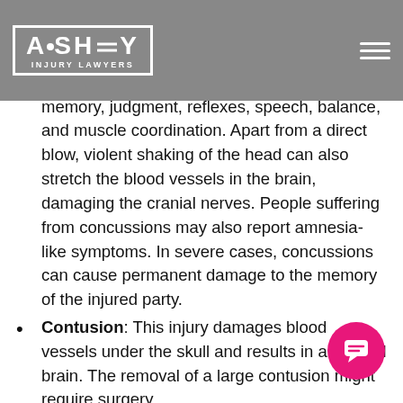Ashley Injury Lawyers
Concussions: The most common and least severe kind of TBI, concussions impact memory, judgment, reflexes, speech, balance, and muscle coordination. Apart from a direct blow, violent shaking of the head can also stretch the blood vessels in the brain, damaging the cranial nerves. People suffering from concussions may also report amnesia-like symptoms. In severe cases, concussions can cause permanent damage to the memory of the injured party.
Contusion: This injury damages blood vessels under the skull and results in a bruised brain. The removal of a large contusion might require surgery.
Coup-Contrecoup: Coup-contrecoup injuries are the most severe TBIs, affecting both sides of the brain. The injuries occur to the site under the impact and the opposite side after the brain hits the skull after a jolt. Often misdiagnosed, coup-contrecoup injuries